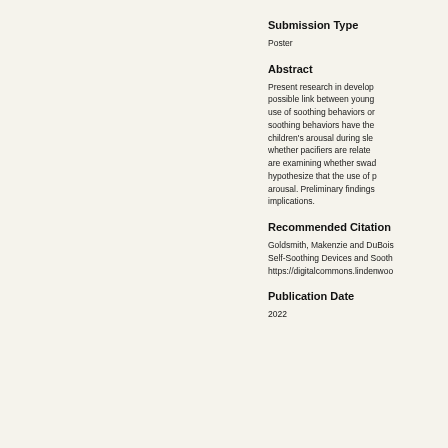Submission Type
Poster
Abstract
Present research in develop- possible link between young- use of soothing behaviors or soothing behaviors have the children's arousal during sle- whether pacifiers are relate- are examining whether swad- hypothesize that the use of p arousal. Preliminary findings implications.
Recommended Citation
Goldsmith, Makenzie and DuBois- Self-Soothing Devices and Sooth https://digitalcommons.lindenwo-
Publication Date
2022